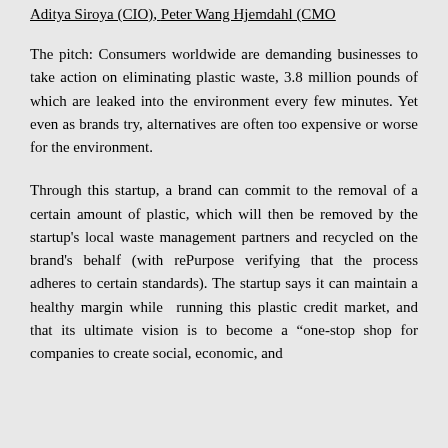Aditya Siroya (CIO), Peter Wang Hjemdahl (CMO
The pitch: Consumers worldwide are demanding businesses to take action on eliminating plastic waste, 3.8 million pounds of which are leaked into the environment every few minutes. Yet even as brands try, alternatives are often too expensive or worse for the environment.
Through this startup, a brand can commit to the removal of a certain amount of plastic, which will then be removed by the startup's local waste management partners and recycled on the brand's behalf (with rePurpose verifying that the process adheres to certain standards). The startup says it can maintain a healthy margin while running this plastic credit market, and that its ultimate vision is to become a “one-stop shop for companies to create social, economic, and